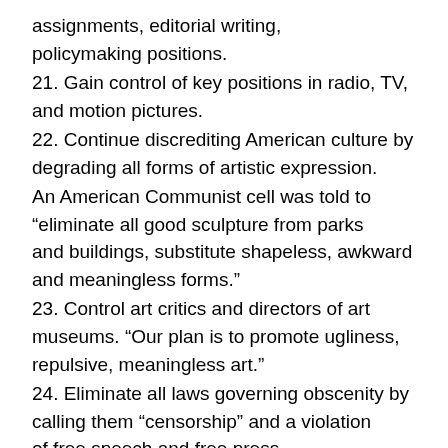assignments, editorial writing, policymaking positions.
21. Gain control of key positions in radio, TV, and motion pictures.
22. Continue discrediting American culture by degrading all forms of artistic expression.
An American Communist cell was told to “eliminate all good sculpture from parks and buildings, substitute shapeless, awkward and meaningless forms.”
23. Control art critics and directors of art museums. “Our plan is to promote ugliness, repulsive, meaningless art.”
24. Eliminate all laws governing obscenity by calling them “censorship” and a violation of free speech and free press.